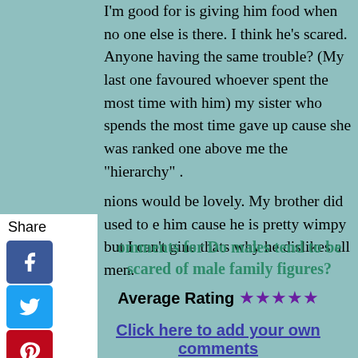I'm good for is giving him food when no one else is there. I think he's scared. Anyone having the same trouble? (My last one favoured whoever spent the most time with him) my sister who spends the most time gave up cause she was ranked one above me the "hierarchy" .
nions would be lovely. My brother did used to e him cause he is pretty wimpy but I can't gine thats why he dislikes all men.
omments for Do males tend to be scared of male family figures?
Average Rating ★★★★★
Click here to add your own comments